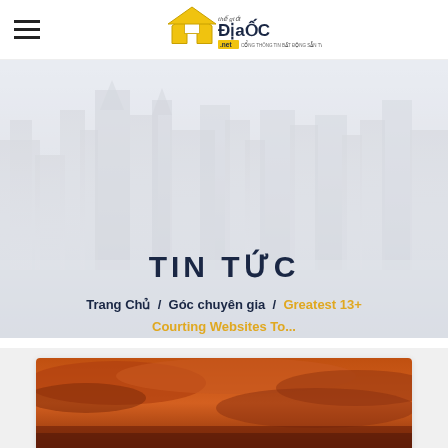☰  Thế Giới Địa Ốc .net
[Figure (photo): City skyline with tall skyscrapers, faded/washed-out cityscape used as hero background image]
TIN TỨC
Trang Chủ / Góc chuyên gia / Greatest 13+ Courting Websites To...
[Figure (photo): Partial image of a dramatic sky with warm orange/brown tones, bottom of page card preview]